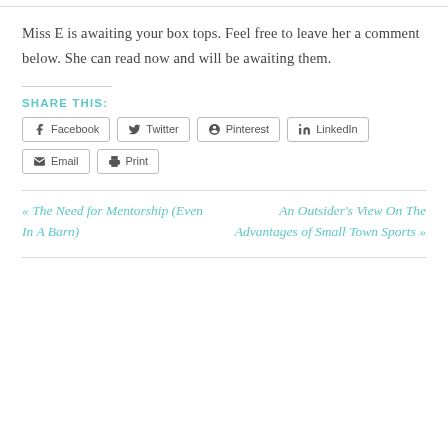Miss E is awaiting your box tops. Feel free to leave her a comment below. She can read now and will be awaiting them.
SHARE THIS:
Facebook
Twitter
Pinterest
LinkedIn
Email
Print
« The Need for Mentorship (Even In A Barn)
An Outsider's View On The Advantages of Small Town Sports »